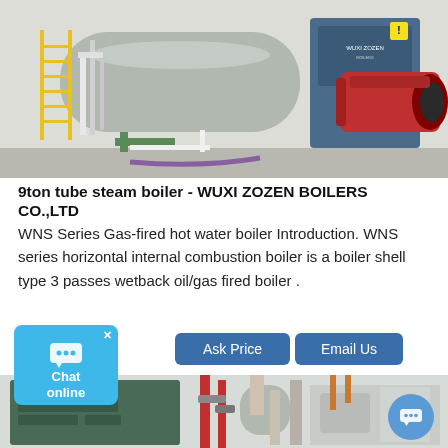[Figure (photo): Industrial gas-fired boiler with red burner unit on the right side, yellow ladder and piping on the left, in an industrial facility. WUXI ZOZEN branding visible on blue panel.]
9ton tube steam boiler - WUXI ZOZEN BOILERS CO.,LTD
WNS Series Gas-fired hot water boiler Introduction. WNS series horizontal internal combustion boiler is a boiler shell type 3 passes wetback oil/gas fired boiler .
[Figure (screenshot): Chat online widget (blue box with chat icon, X close button, Chat online text), Ask Price button, Email Us button, and a second industrial boiler photo at the bottom showing green/grey boiler panel and red/copper piping. Blue chat bubble icon on bottom right.]